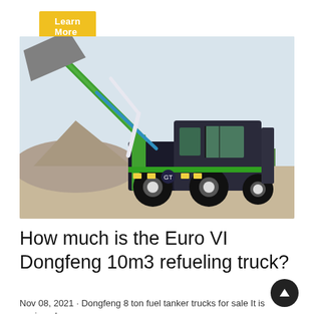[Figure (photo): A green self-loading concrete mixer truck or wheeled loader at a construction/gravel site, with its loading arm raised and bucket elevated, photographed from the side-front angle.]
How much is the Euro VI Dongfeng 10m3 refueling truck?
Nov 08, 2021 · Dongfeng 8 ton fuel tanker trucks for sale It is equipped